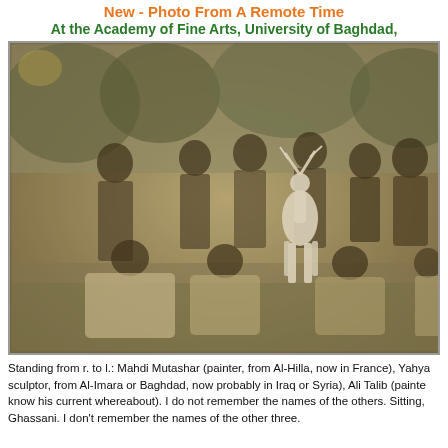New - Photo From A Remote Time
At the Academy of Fine Arts, University of Baghdad,
[Figure (photo): Vintage black and white / sepia group photograph of young men at the Academy of Fine Arts, University of Baghdad. Some are standing, some sitting on grass. A white sculptural deer figure is visible in the center-background. Trees are visible behind the group.]
Standing from r. to l.: Mahdi Mutashar (painter, from Al-Hilla, now in France), Yahya... sculptor, from Al-Imara or Baghdad, now probably in Iraq or Syria), Ali Talib (painte... know his current whereabout). I do not remember the names of the others. Sitting, Ghassani. I don't remember the names of the other three.